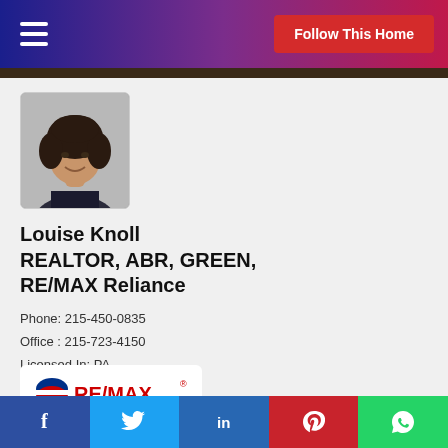Follow This Home
[Figure (photo): Headshot photo of Louise Knoll, a woman with dark curly hair, smiling, wearing a dark patterned top against a gray background]
Louise Knoll REALTOR, ABR, GREEN, RE/MAX Reliance
Phone: 215-450-0835
Office : 215-723-4150
Licensed In: PA
License #: RS226626L
[Figure (logo): RE/MAX logo with red and blue balloon icon and RE/MAX text in red]
f  Twitter  in  Pinterest  WhatsApp